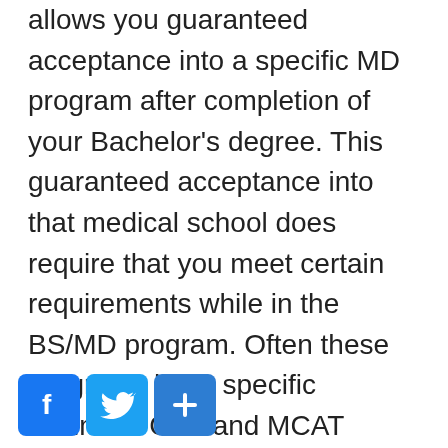allows you guaranteed acceptance into a specific MD program after completion of your Bachelor's degree. This guaranteed acceptance into that medical school does require that you meet certain requirements while in the BS/MD program. Often these programs have specific minimum GPA and MCAT score requirements that you must meet while in the program if you are to obtain acceptance into the medical school. So while it does make life easier to know that you have guaranteed acceptance into medical school upon completion of your Bachelor's degree, it is still no walk in the park. The BS/MD program is good for high school students who know they want to become a doctor and you are certain that medicine is the career you want to pursue then this could be a
[Figure (other): Social sharing buttons: Facebook, Twitter, and a generic share/add button]